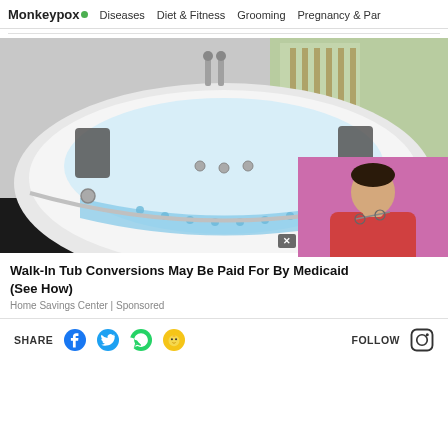Monkeypox • Diseases • Diet & Fitness • Grooming • Pregnancy & Par...
[Figure (photo): A large white corner whirlpool/jacuzzi tub with blue LED lighting underneath, dual headrests, multiple jets, chrome faucets, photographed in a room with a window and wooden fence visible outside.]
Walk-In Tub Conversions May Be Paid For By Medicaid (See How)
Home Savings Center | Sponsored
[Figure (photo): A man in a red shirt holding glasses, shown from the chest up, with a purple/pink background — appears to be a video ad overlay thumbnail.]
SHARE
FOLLOW